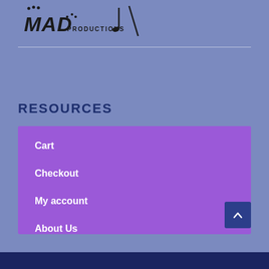[Figure (logo): MAD Productions logo with paw prints and musical note silhouette]
RESOURCES
Cart
Checkout
My account
About Us